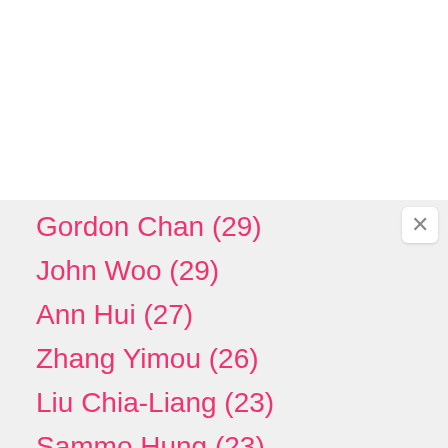Gordon Chan (29)
John Woo (29)
Ann Hui (27)
Zhang Yimou (26)
Liu Chia-Liang (23)
Sammo Hung (23)
Benny Chan (22)
Ringo Lam (22)
Jeffrey Lau (20)
Chen Kaige (19)
Wilson Yip (19)